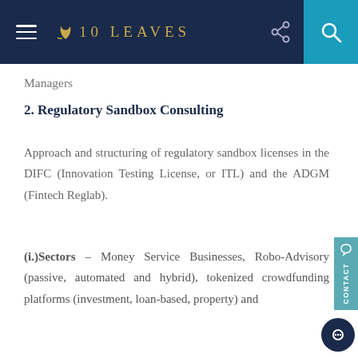10 LEAVES
Managers
2. Regulatory Sandbox Consulting
Approach and structuring of regulatory sandbox licenses in the DIFC (Innovation Testing License, or ITL) and the ADGM (Fintech Reglab).
(i.) Sectors – Money Service Businesses, Robo-Advisory (passive, automated and hybrid), tokenized crowdfunding platforms (investment, loan-based, property) and